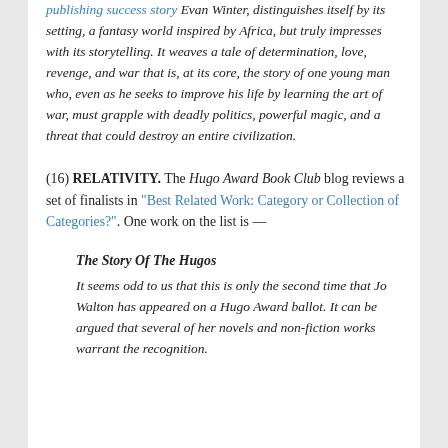publishing success story Evan Winter, distinguishes itself by its setting, a fantasy world inspired by Africa, but truly impresses with its storytelling. It weaves a tale of determination, love, revenge, and war that is, at its core, the story of one young man who, even as he seeks to improve his life by learning the art of war, must grapple with deadly politics, powerful magic, and a threat that could destroy an entire civilization.
(16) RELATIVITY. The Hugo Award Book Club blog reviews a set of finalists in "Best Related Work: Category or Collection of Categories?". One work on the list is —
The Story Of The Hugos
It seems odd to us that this is only the second time that Jo Walton has appeared on a Hugo Award ballot. It can be argued that several of her novels and non-fiction works warrant the recognition.